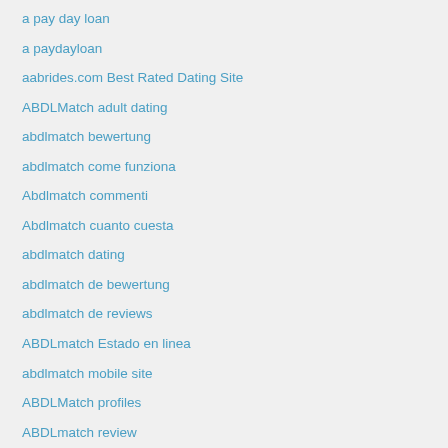a pay day loan
a paydayloan
aabrides.com Best Rated Dating Site
ABDLMatch adult dating
abdlmatch bewertung
abdlmatch come funziona
Abdlmatch commenti
Abdlmatch cuanto cuesta
abdlmatch dating
abdlmatch de bewertung
abdlmatch de reviews
ABDLmatch Estado en linea
abdlmatch mobile site
ABDLMatch profiles
ABDLmatch review